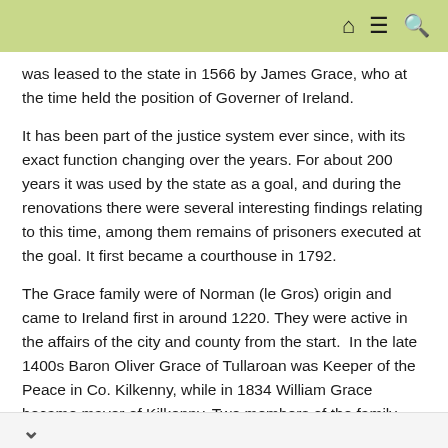[navigation icons: home, menu, search]
was leased to the state in 1566 by James Grace, who at the time held the position of Governer of Ireland.
It has been part of the justice system ever since, with its exact function changing over the years. For about 200 years it was used by the state as a goal, and during the renovations there were several interesting findings relating to this time, among them remains of prisoners executed at the goal. It first became a courthouse in 1792.
The Grace family were of Norman (le Gros) origin and came to Ireland first in around 1220. They were active in the affairs of the city and county from the start.  In the late 1400s Baron Oliver Grace of Tullaroan was Keeper of the Peace in Co. Kilkenny, while in 1834 William Grace became mayor of Kilkenny. Two members of the family were abbots at Jerpoint Abbey.
They primarily lived at Courtstown Castle in Tullaroan, about 10 miles from the city, on extensive farmlands and...